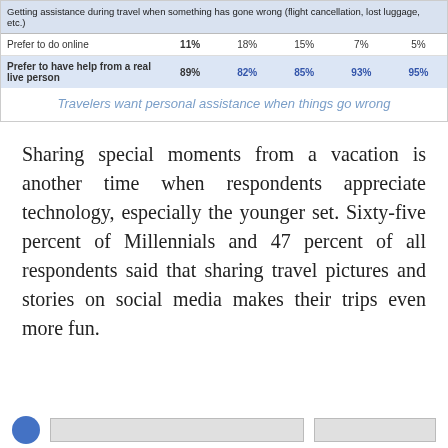| Getting assistance during travel when something has gone wrong (flight cancellation, lost luggage, etc.) |  |  |  |  |  |
| --- | --- | --- | --- | --- | --- |
| Prefer to do online | 11% | 18% | 15% | 7% | 5% |
| Prefer to have help from a real live person | 89% | 82% | 85% | 93% | 95% |
Travelers want personal assistance when things go wrong
Sharing special moments from a vacation is another time when respondents appreciate technology, especially the younger set. Sixty-five percent of Millennials and 47 percent of all respondents said that sharing travel pictures and stories on social media makes their trips even more fun.